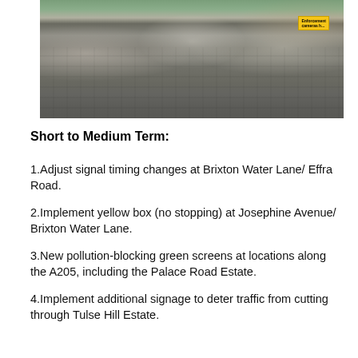[Figure (photo): Street scene showing pedestrians and cyclists on a wide cobblestone shared space with trees and benches. An enforcement camera sign is visible on the right side.]
Short to Medium Term:
1.Adjust signal timing changes at Brixton Water Lane/ Effra Road.
2.Implement yellow box (no stopping) at Josephine Avenue/ Brixton Water Lane.
3.New pollution-blocking green screens at locations along the A205, including the Palace Road Estate.
4.Implement additional signage to deter traffic from cutting through Tulse Hill Estate.